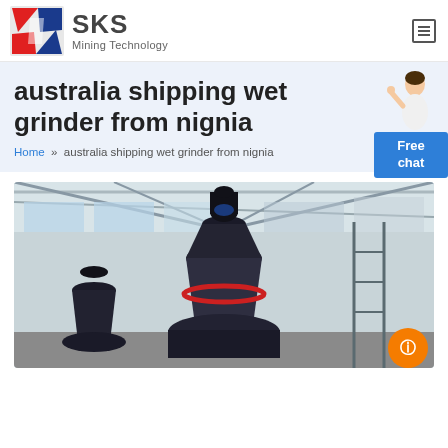[Figure (logo): SKS Mining Technology logo with red and blue geometric icon and company name]
australia shipping wet grinder from nignia
Home » australia shipping wet grinder from nignia
[Figure (photo): Industrial grinding machine (cone/bowl mill) inside a large factory warehouse with steel roof structure, natural lighting from windows]